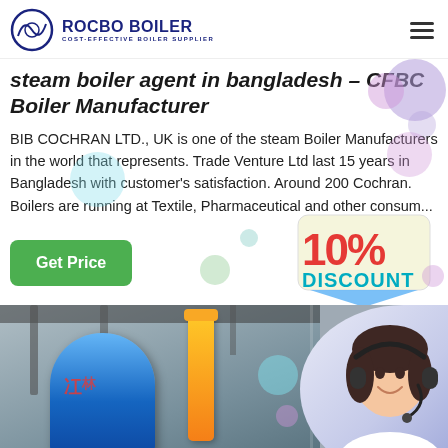ROCBO BOILER — COST-EFFECTIVE BOILER SUPPLIER
steam boiler agent in bangladesh – CFBC Boiler Manufacturer
BIB COCHRAN LTD., UK is one of the steam Boiler Manufacturers in the world that represents. Trade Venture Ltd last 15 years in Bangladesh with customer's satisfaction. Around 200 Cochran. Boilers are running at Textile, Pharmaceutical and other consum...
[Figure (infographic): Green 'Get Price' button on the left, and a '10% DISCOUNT' badge graphic on the right]
[Figure (photo): Bottom composite image: industrial steam boiler (blue cylindrical tank with yellow pipe) on the left, and a female customer service agent with headset on the right. Text '7X24 Online' at bottom right.]